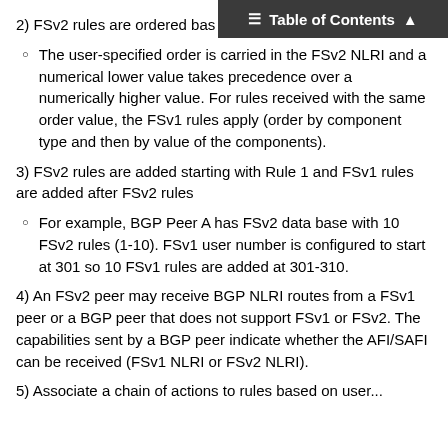Table of Contents
2) FSv2 rules are ordered bas...
The user-specified order is carried in the FSv2 NLRI and a numerical lower value takes precedence over a numerically higher value. For rules received with the same order value, the FSv1 rules apply (order by component type and then by value of the components).
3) FSv2 rules are added starting with Rule 1 and FSv1 rules are added after FSv2 rules
For example, BGP Peer A has FSv2 data base with 10 FSv2 rules (1-10). FSv1 user number is configured to start at 301 so 10 FSv1 rules are added at 301-310.
4) An FSv2 peer may receive BGP NLRI routes from a FSv1 peer or a BGP peer that does not support FSv1 or FSv2. The capabilities sent by a BGP peer indicate whether the AFI/SAFI can be received (FSv1 NLRI or FSv2 NLRI).
5) Associate a chain of actions to rules based on user...